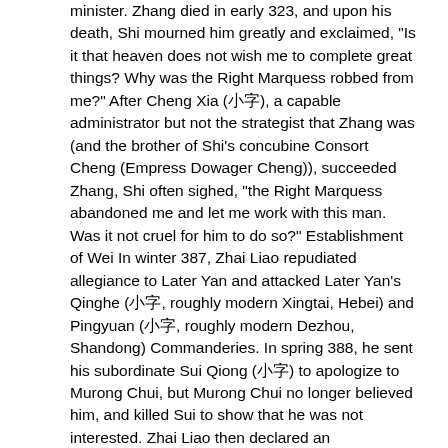minister. Zhang died in early 323, and upon his death, Shi mourned him greatly and exclaimed, "Is it that heaven does not wish me to complete great things? Why was the Right Marquess robbed from me?" After Cheng Xia (兼字), a capable administrator but not the strategist that Zhang was (and the brother of Shi's concubine Consort Cheng (Empress Dowager Cheng)), succeeded Zhang, Shi often sighed, "the Right Marquess abandoned me and let me work with this man. Was it not cruel for him to do so?" Establishment of Wei In winter 387, Zhai Liao repudiated allegiance to Later Yan and attacked Later Yan's Qinghe (兼字, roughly modern Xingtai, Hebei) and Pingyuan (兼字, roughly modern Dezhou, Shandong) Commanderies. In spring 388, he sent his subordinate Sui Qiong (兼字) to apologize to Murong Chui, but Murong Chui no longer believed him, and killed Sui to show that he was not interested. Zhai Liao then declared an independent Wei state and declared himself the Heavenly Prince. He also changed era name and established an imperial government. He then moved the capital to Huatai (兼字, in modern Anyang, Henan). In 389, he captured Jin's Yingyang Commandery (兼字, roughly modern Zhengzhou, Henan). He also sent his general Gu Ti (兼字) to pretend to surrender to the Later Yan Prince of Lelang, Murong Wen (兼字) and assassinate Murong Wen, although that